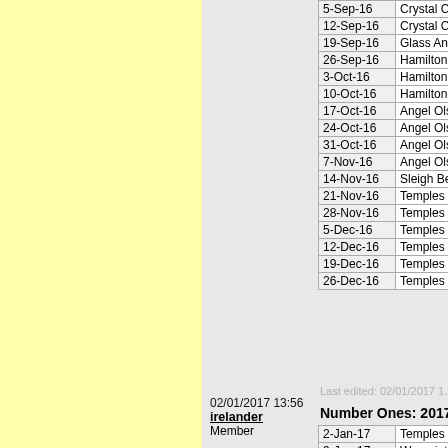| Date | Artist/Album |
| --- | --- |
| 5-Sep-16 | Crystal Castl... |
| 12-Sep-16 | Crystal Castl... |
| 19-Sep-16 | Glass Animal... |
| 26-Sep-16 | Hamilton Leit... |
| 3-Oct-16 | Hamilton Leit... |
| 10-Oct-16 | Hamilton Leit... |
| 17-Oct-16 | Angel Olsen ... |
| 24-Oct-16 | Angel Olsen ... |
| 31-Oct-16 | Angel Olsen ... |
| 7-Nov-16 | Angel Olsen ... |
| 14-Nov-16 | Sleigh Bells -... |
| 21-Nov-16 | Temples - Ce... |
| 28-Nov-16 | Temples - Ce... |
| 5-Dec-16 | Temples - Ce... |
| 12-Dec-16 | Temples - Ce... |
| 19-Dec-16 | Temples - Ce... |
| 26-Dec-16 | Temples - Ce... |
Last edited: 02/01/2017 1...
02/01/2017 13:56
irelander
Member
Number Ones: 2017
| Date | Artist/Album |
| --- | --- |
| 2-Jan-17 | Temples - Ce... |
| 9-Jan-17 | Warpaint - Sc... |
| 16-Jan-17 | Warpaint - Sc... |
| 23-Jan-17 | Warpaint - Sc... |
| 30-Jan-17 | Warpaint - Sc... |
| 6-Feb-17 | Peter Dohert... |
| 13-Feb-17 | Peter Dohert... |
| 20-Feb-17 | Warpaint - Sc... |
| 27-Feb-17 | The Jungle G... |